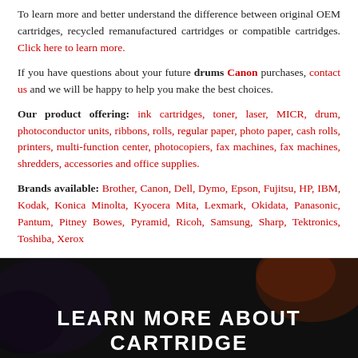To learn more and better understand the difference between original OEM cartridges, recycled remanufactured cartridges or compatible cartridges. Click here to learn more.
If you have questions about your future drums Canon purchases, contact us and we will be happy to help you make the best choices.
Our product offering: ink cartridges, toner, laser, MICR, drum, photoconductor units, ribbons, rolls, regular paper, photo paper, cash rolls, printers, multi-function center, photocopiers, fax machines, fax machines, shredders, accessories and office supplies.
Brands available: Brother, Canon, Dell, Dymo, Epson, Fujitsu, HP, IBM, Kodak, Konica Minolta, Kyocera Mita, Lexmark, Okidata, Panasonic, Pantum, Pitney Bowes, Pyramid, Ricoh, Samsung, Sharp, Tektronics, Toshiba, Xerox
[Figure (photo): Dark background image with a large bold white text overlay reading LEARN MORE ABOUT CARTRIDGE]
LEARN MORE ABOUT CARTRIDGE